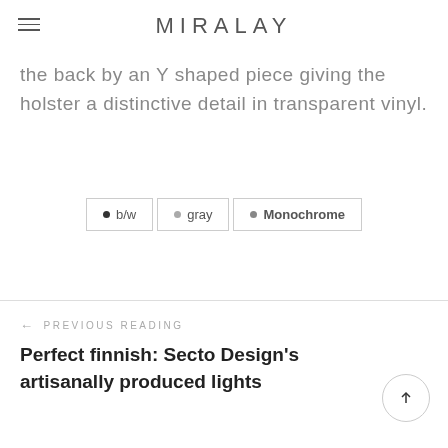MIRALAY
the back by an Y shaped piece giving the holster a distinctive detail in transparent vinyl.
b/w
gray
Monochrome
← PREVIOUS READING
Perfect finnish: Secto Design's artisanally produced lights